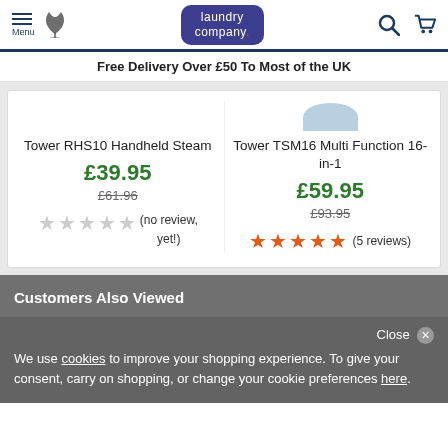Laundry Company — Menu, Phone, Search, Cart
Free Delivery Over £50 To Most of the UK
Tower RHS10 Handheld Steam — £39.95 (was £61.96) — no review, yet!
Tower TSM16 Multi Function 16-in-1 — £59.95 (was £93.95) — 5 reviews (5 stars)
Customers Also Viewed
Close ✕ We use cookies to improve your shopping experience. To give your consent, carry on shopping, or change your cookie preferences here.